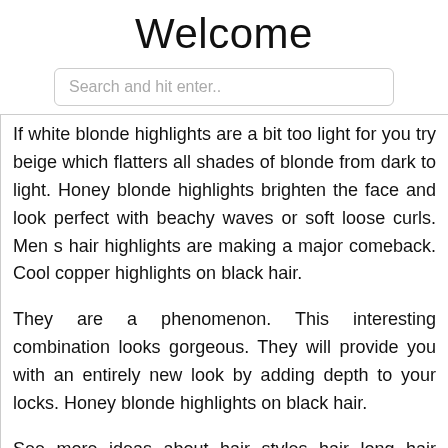Welcome
[Figure (other): Search input field with placeholder text 'Search and hit enter..']
If white blonde highlights are a bit too light for you try beige which flatters all shades of blonde from dark to light. Honey blonde highlights brighten the face and look perfect with beachy waves or soft loose curls. Men s hair highlights are making a major comeback. Cool copper highlights on black hair.
They are a phenomenon. This interesting combination looks gorgeous. They will provide you with an entirely new look by adding depth to your locks. Honey blonde highlights on black hair.
See more ideas about hair styles hair long hair styles. While experimenting with cool hair colors won t completely change your look the best dyed hairstyles can make you stand. Honey highlights are always popular in the fall and 2020 is no exception. Chunky highlights are fun and playful